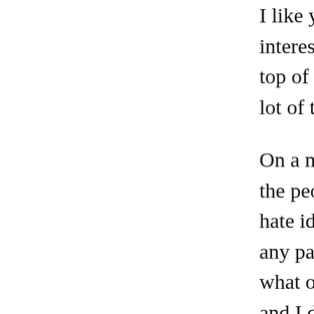I like your linked post. It's aligned with my interesting alternative perspective. If you d top of this one, Geeks MOPs and Sociopath lot of these ideas in a very similar way.
On a more personal note: I grapple with a h the people like John Scalzi and your post h hate identity. I think identity is not valuabl any particular identity, nor a desire to have what others think you are, and I've never m and I don't need someone else's permission
From this perspective, it is immediately an there is this culture/identity distinction (th words). Conversations talking against 'gee to me, because I understood the cultural as valuable, and I saw how it was being threa that culture. It confused me why people co argument like "anyone who says they are a